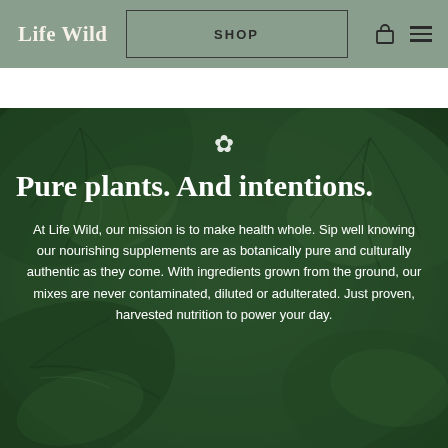Life Wild | SHOP
[Figure (photo): Close-up green leafy plant background with visible leaf veins and texture, dark green tones]
Pure plants. And intentions.
At Life Wild, our mission is to make health whole. Sip well knowing our nourishing supplements are as botanically pure and culturally authentic as they come. With ingredients grown from the ground, our mixes are never contaminated, diluted or adulterated. Just proven, harvested nutrition to power your day.